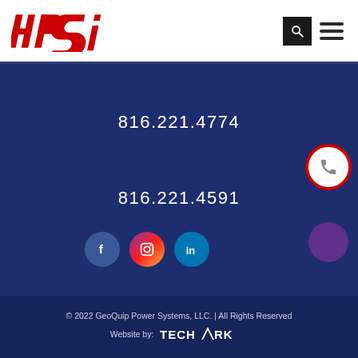[Figure (logo): HPSI logo in red italic bold lettering]
816.221.4774
816.221.4591
[Figure (illustration): Social media icons: Facebook (blue circle with f), Instagram (pink/purple gradient circle with camera icon), LinkedIn (teal circle with in)]
© 2022 GeoQuip Power Systems, LLC. | All Rights Reserved
Website by: TECHARK